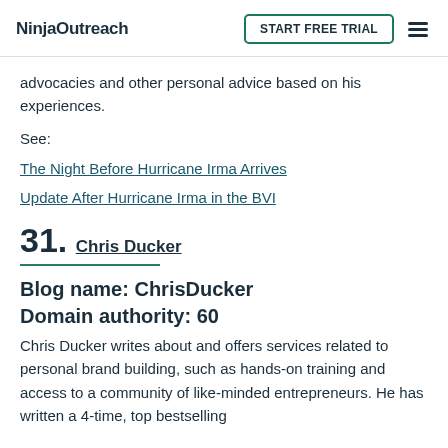NinjaOutreach | START FREE TRIAL
advocacies and other personal advice based on his experiences.
See:
The Night Before Hurricane Irma Arrives
Update After Hurricane Irma in the BVI
31. Chris Ducker
Blog name: ChrisDucker
Domain authority: 60
Chris Ducker writes about and offers services related to personal brand building, such as hands-on training and access to a community of like-minded entrepreneurs. He has written a 4-time, top bestselling